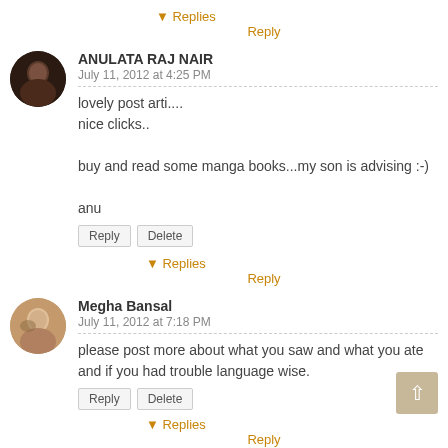▼ Replies
Reply
ANULATA RAJ NAIR
July 11, 2012 at 4:25 PM
lovely post arti....
nice clicks..

buy and read some manga books...my son is advising :-)

anu
Reply  Delete
▼ Replies
Reply
Megha Bansal
July 11, 2012 at 7:18 PM
please post more about what you saw and what you ate and if you had trouble language wise.
Reply  Delete
▼ Replies
Reply